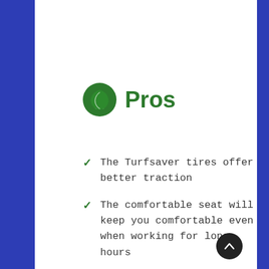Pros
The Turfsaver tires offer better traction
The comfortable seat will keep you comfortable even when working for long hours
Features hydrostatic transmission